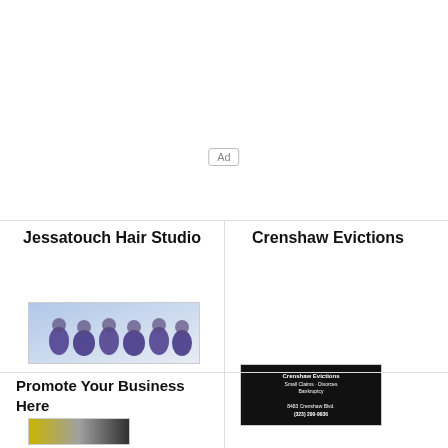[Figure (other): Ad placeholder box with 'Ad' label]
Jessatouch Hair Studio
[Figure (photo): Group photo of women in purple uniforms against a light blue background]
Crenshaw Evictions
[Figure (other): Black background advertisement for Crenshaw Evictions, Small Claims, Divorces, Bankruptcy at 8483 Crenshaw Blvd, (323) 290-9936]
Promote Your Business Here
[Figure (photo): Partially visible promotional image at bottom]